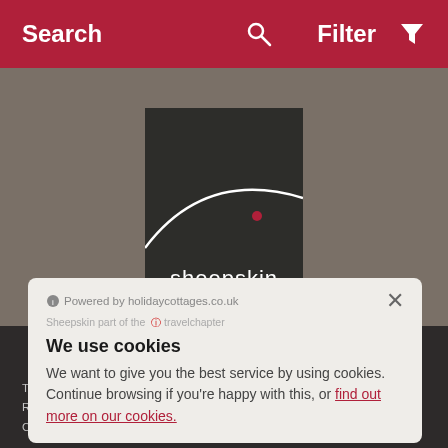Search   Filter
[Figure (logo): Sheepskin brand logo — dark square with curved white line and text 'sheepskin']
[Figure (infographic): Two circular social media icon buttons: Facebook (f) and Twitter (bird)]
Powered by holidaycottages.co.uk
Sheepskin part of the travelchapter
We use cookies
We want to give you the best service by using cookies. Continue browsing if you're happy with this, or find out more on our cookies.
The Travel Chapter Limited, travelcottages.co.uk | The Travel Chapter Limited, Registered Office Travel Chapter House Gammaton Road Bideford Devon Company No. 02431506 | VAT reg: 149053210